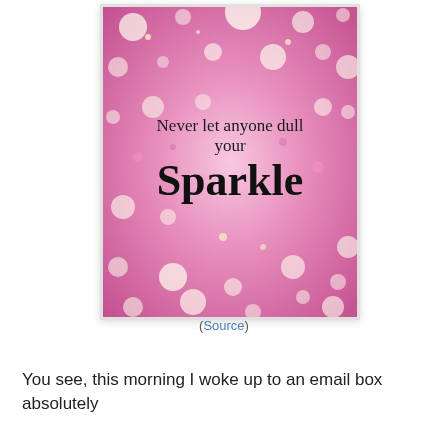[Figure (illustration): Pink glitter bokeh background image with inspirational quote text: 'Never let anyone dull your Sparkle' in serif and script fonts]
(Source)
You see, this morning I woke up to an email box absolutely